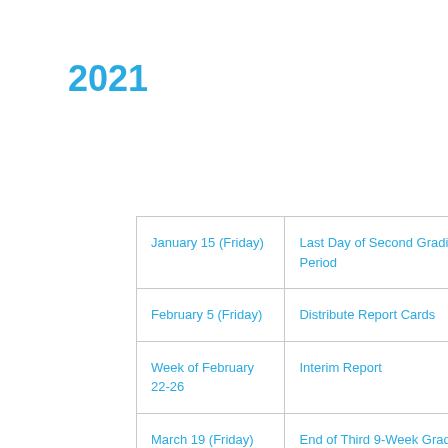2021
| January 15 (Friday) | Last Day of Second Grading Period |
| February 5 (Friday) | Distribute Report Cards |
| Week of February 22-26 | Interim Report |
| March 19 (Friday) | End of Third 9-Week Grading Period |